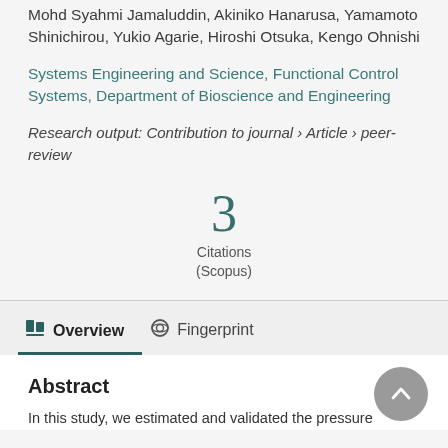Mohd Syahmi Jamaluddin, Akiniko Hanarusa, Yamamoto Shinichirou, Yukio Agarie, Hiroshi Otsuka, Kengo Ohnishi
Systems Engineering and Science, Functional Control Systems, Department of Bioscience and Engineering
Research output: Contribution to journal › Article › peer-review
3 Citations (Scopus)
Overview   Fingerprint
Abstract
In this study, we estimated and validated the pressure